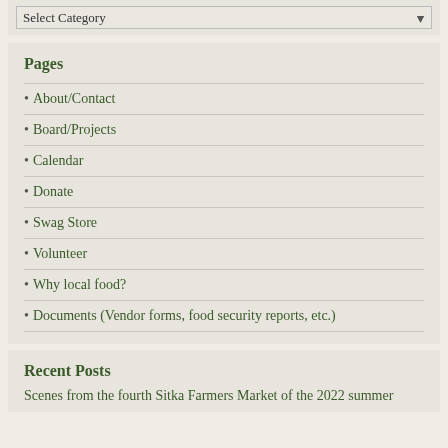Select Category
Pages
About/Contact
Board/Projects
Calendar
Donate
Swag Store
Volunteer
Why local food?
Documents (Vendor forms, food security reports, etc.)
Recent Posts
Scenes from the fourth Sitka Farmers Market of the 2022 summer